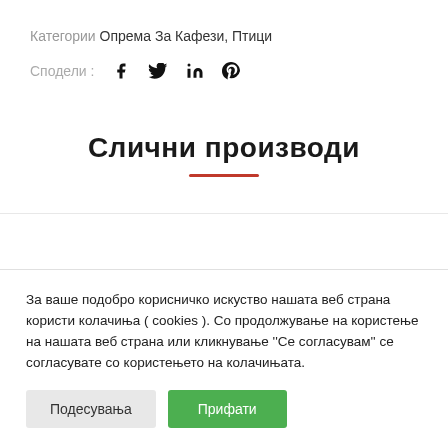Категории Опрема За Кафези, Птици
Сподели : [Facebook] [Twitter] [LinkedIn] [Pinterest]
Слични производи
За ваше подобро корисничко искуство нашата веб страна користи колачиња ( cookies ). Со продолжување на користење на нашата веб страна или кликнување ''Се согласувам'' се согласувате со користењето на колачињата.
Подесувања | Прифати